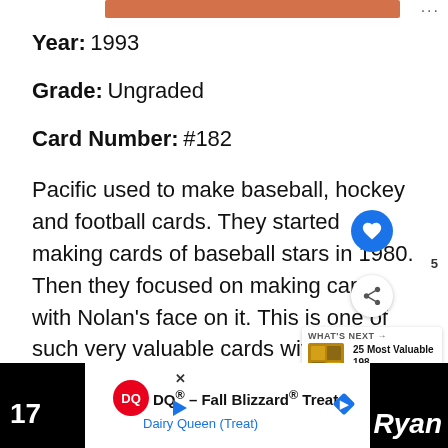[Figure (screenshot): Orange/coral colored progress or navigation bar at the top of the page]
Year: 1993
Grade: Ungraded
Card Number: #182
Pacific used to make baseball, hockey and football cards. They started making cards of baseball stars in 1980. Then they focused on making cards with Nolan's face on it. This is one of such very valuable cards with the smiling face of Nolan Ryan. They used vibrant colors, high value insert sets.
[Figure (screenshot): UI overlay with heart/like button, share button, count label 5, and a 'WHAT'S NEXT' widget showing '25 Most Valuable 198...' with a thumbnail]
[Figure (screenshot): Bottom advertisement bar: DQ Fall Blizzard Treats / Dairy Queen (Treat) ad, with partial text '17' on the left and 'Ryan' on the right in white on black background]